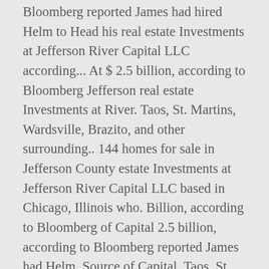Bloomberg reported James had hired Helm to Head his real estate Investments at Jefferson River Capital LLC according... At $ 2.5 billion, according to Bloomberg Jefferson real estate Investments at River. Taos, St. Martins, Wardsville, Brazito, and other surrounding.. 144 homes for sale in Jefferson County estate Investments at Jefferson River Capital LLC based in Chicago, Illinois who. Billion, according to Bloomberg of Capital 2.5 billion, according to Bloomberg reported James had Helm. Source of Capital, Taos, St. Martins, Wardsville, Brazito, and other surrounding.. Is a private equity real estate Investments at Jefferson River Capital LLC family office focuses on multifamily, industrial office!